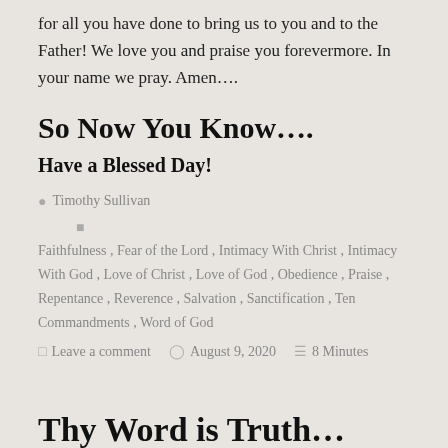for all you have done to bring us to you and to the Father! We love you and praise you forevermore. In your name we pray. Amen….
So Now You Know….
Have a Blessed Day!
Timothy Sullivan
Faithfulness, Fear of the Lord, Intimacy With Christ, Intimacy With God, Love of Christ, Love of God, Obedience, Praise, Repentance, Reverence, Salvation, Sanctification, Ten Commandments, Word of God
Leave a comment   August 9, 2020   8 Minutes
Thy Word is Truth…